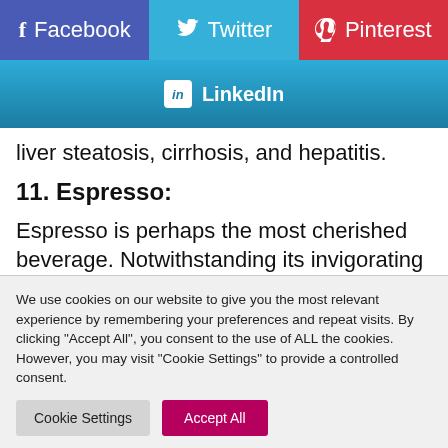[Figure (infographic): Social media share buttons: Facebook (blue-purple), Twitter (light blue), Pinterest (red), and LinkedIn (blue gradient) buttons]
liver steatosis, cirrhosis, and hepatitis.
11. Espresso:
Espresso is perhaps the most cherished beverage. Notwithstanding its invigorating impact, espresso
We use cookies on our website to give you the most relevant experience by remembering your preferences and repeat visits. By clicking "Accept All", you consent to the use of ALL the cookies. However, you may visit "Cookie Settings" to provide a controlled consent.